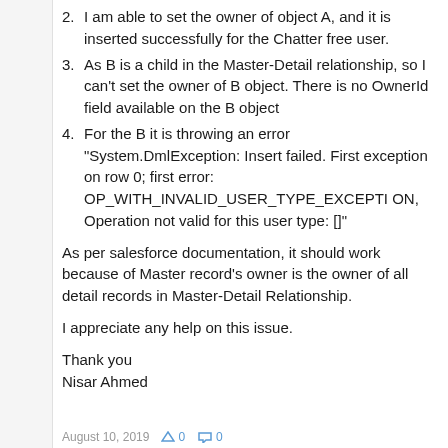2. I am able to set the owner of object A, and it is inserted successfully for the Chatter free user.
3. As B is a child in the Master-Detail relationship, so I can't set the owner of B object. There is no OwnerId field available on the B object
4. For the B it is throwing an error "System.DmlException: Insert failed. First exception on row 0; first error: OP_WITH_INVALID_USER_TYPE_EXCEPTION, Operation not valid for this user type: []"
As per salesforce documentation, it should work because of Master record's owner is the owner of all detail records in Master-Detail Relationship.
I appreciate any help on this issue.
Thank you
Nisar Ahmed
August 10, 2019  0  0